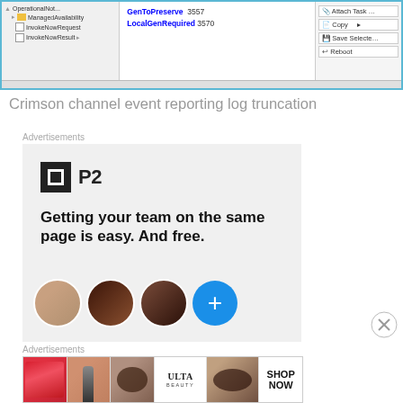[Figure (screenshot): Screenshot of a software application showing a tree panel on the left with items like OperationalNotification, ManagedAvailability, InvokeNowRequest, InvokeNowResult; a middle properties panel showing GenToPreserve 3557, LocalGenRequired 3570; and a right-click context menu with options Attach Task, Copy, Save Select., Reboot]
Crimson channel event reporting log truncation
[Figure (other): Advertisement for P2. Logo shows a dark square with white border icon and P2 text. Headline: Getting your team on the same page is easy. And free. Below are three circular profile photos and a blue plus button.]
[Figure (other): Advertisement for ULTA Beauty showing makeup product photos (lips, brush, eye), the ULTA Beauty logo, close-up eye photo, and a SHOP NOW call-to-action button]